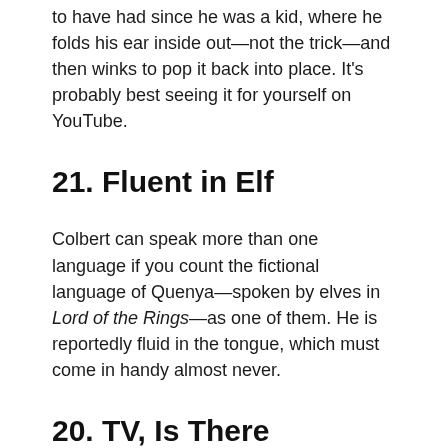to have had since he was a kid, where he folds his ear inside out—not the trick—and then winks to pop it back into place. It's probably best seeing it for yourself on YouTube.
21. Fluent in Elf
Colbert can speak more than one language if you count the fictional language of Quenya—spoken by elves in Lord of the Rings—as one of them. He is reportedly fluid in the tongue, which must come in handy almost never.
20. TV, Is There Anything It Can't Do?
Colbert was worried as a kid that people would think he was stupid because of his Southern accent, which was